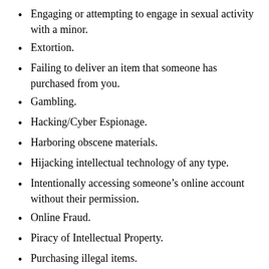Engaging or attempting to engage in sexual activity with a minor.
Extortion.
Failing to deliver an item that someone has purchased from you.
Gambling.
Hacking/Cyber Espionage.
Harboring obscene materials.
Hijacking intellectual technology of any type.
Intentionally accessing someone's online account without their permission.
Online Fraud.
Piracy of Intellectual Property.
Purchasing illegal items.
Promotion or distribution of obscene